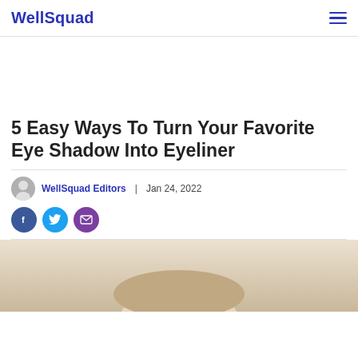WellSquad
5 Easy Ways To Turn Your Favorite Eye Shadow Into Eyeliner
WellSquad Editors | Jan 24, 2022
[Figure (photo): Bottom of article page showing the top portion of a person's face/head, light background, partial view.]